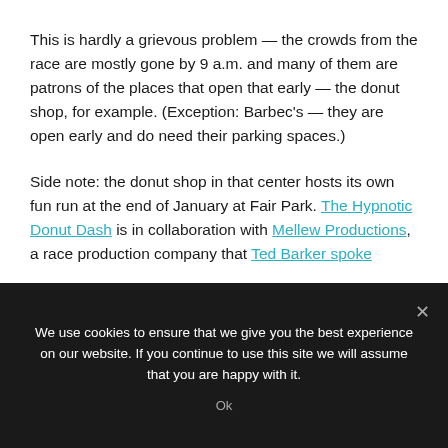This is hardly a grievous problem — the crowds from the race are mostly gone by 9 a.m. and many of them are patrons of the places that open that early — the donut shop, for example. (Exception: Barbec's — they are open early and do need their parking spaces.)
Side note: the donut shop in that center hosts its own fun run at the end of January at Fair Park. The Hypnotic Donut Dash is in collaboration with Mellew Productions, a race production company that Ted Barker spoke
We use cookies to ensure that we give you the best experience on our website. If you continue to use this site we will assume that you are happy with it.
Ok